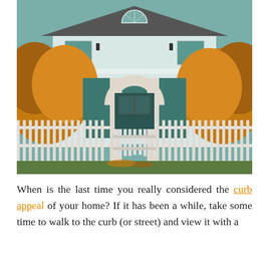[Figure (photo): A white two-story house with a white picket fence and a white arched garden gate in the foreground. Autumn trees with orange/yellow leaves flank both sides. The house has a balcony with white railings, a fan window at the top, and a covered porch entrance behind the gate.]
When is the last time you really considered the curb appeal of your home? If it has been a while, take some time to walk to the curb (or street) and view it with a